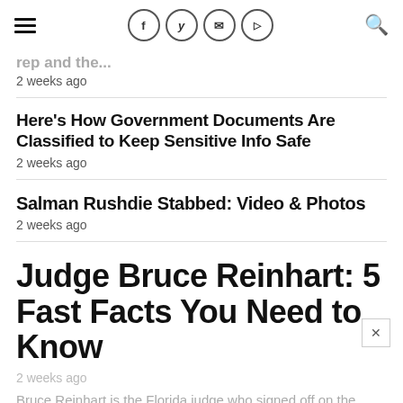Navigation header with hamburger menu, social icons (f, twitter, mail, flipboard), and search icon
rep and the...
2 weeks ago
Here's How Government Documents Are Classified to Keep Sensitive Info Safe
2 weeks ago
Salman Rushdie Stabbed: Video & Photos
2 weeks ago
Judge Bruce Reinhart: 5 Fast Facts You Need to Know
2 weeks ago
Bruce Reinhart is the Florida judge who signed off on the